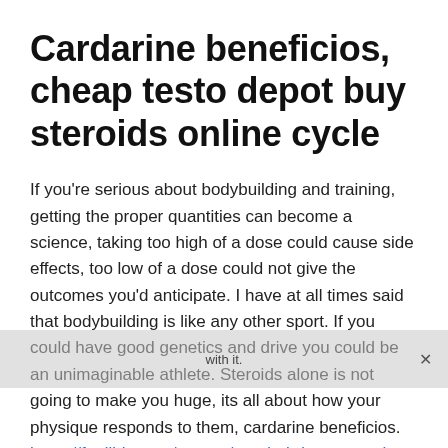Cardarine beneficios, cheap testo depot buy steroids online cycle
If you're serious about bodybuilding and training, getting the proper quantities can become a science, taking too high of a dose could cause side effects, too low of a dose could not give the outcomes you'd anticipate. I have at all times said that bodybuilding is like any other sport. If you could have good genetics and drive you could be an unimaginable athlete. Steroids alone is not going to make you huge, its all about how your physique responds to them, cardarine beneficios. https://funjible.com/groups/anadrol-dosage-cycle-cheap-glonavar-buy-anabolic-steroids-